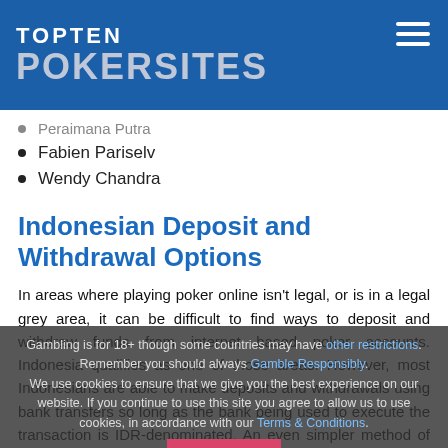TOPTEN POKERSITES
Peraimana Putra
Fabien Pariselv
Wendy Chandra
Indonesian Deposit and Withdrawal Options
In areas where playing poker online isn't legal, or is in a legal grey area, it can be difficult to find ways to deposit and withdraw funds from internet based poker accounts. Indonesia qualifies as one of those areas. However, most Indonesians are able to make deposits and withdrawals using bank transfers so long as the bank being used to execute the transaction is IDR-denominated. An even simpler method of deposit involves the use of a credit card. Most Indonesian poker players are able to simply use a credit card to process a deposit into their online gambling accounts. The tricky thing here, however, is that it's not...
Gambling is for 18+ though some countries may have other restrictions. Remember you should always Gamble Responsibly. We use cookies to ensure that we give you the best experience on our website. If you continue to use this site you agree to allow us to use cookies, in accordance with our Terms & Conditions. AGREE